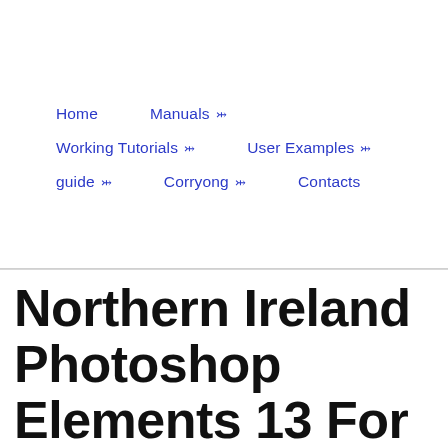Home   Manuals ▾   Working Tutorials ▾   User Examples ▾   guide ▾   Corryong ▾   Contacts
Northern Ireland Photoshop Elements 13 For